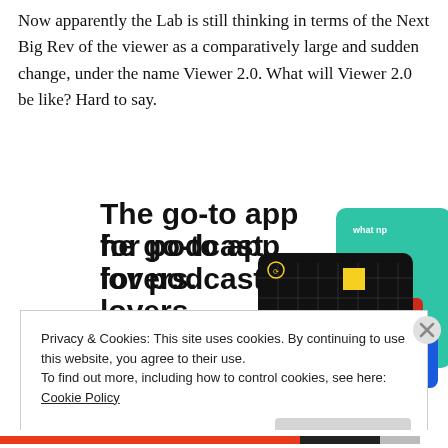Now apparently the Lab is still thinking in terms of the Next Big Rev of the viewer as a comparatively large and sudden change, under the name Viewer 2.0. What will Viewer 2.0 be like? Hard to say.
[Figure (illustration): Advertisement banner for a podcast app. Bold headline reads 'The go-to app for podcast lovers.' with a red 'Download now' link. Right side shows podcast app cards including a 99% Invisible card (black with yellow square and grid) and a green card partially visible.]
Privacy & Cookies: This site uses cookies. By continuing to use this website, you agree to their use.
To find out more, including how to control cookies, see here: Cookie Policy